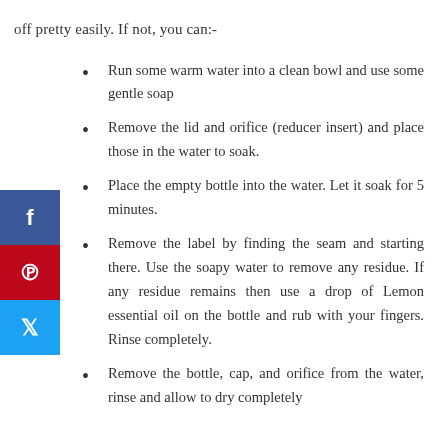off pretty easily. If not, you can:-
Run some warm water into a clean bowl and use some gentle soap
Remove the lid and orifice (reducer insert) and place those in the water to soak.
Place the empty bottle into the water. Let it soak for 5 minutes.
Remove the label by finding the seam and starting there. Use the soapy water to remove any residue. If any residue remains then use a drop of Lemon essential oil on the bottle and rub with your fingers. Rinse completely.
Remove the bottle, cap, and orifice from the water, rinse and allow to dry completely